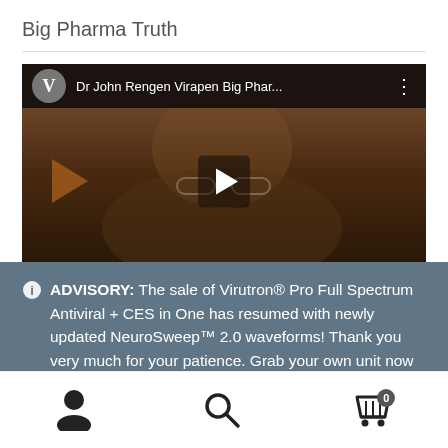Big Pharma Truth
[Figure (screenshot): Embedded YouTube video thumbnail showing a person's face in a dark setting, with a top bar reading 'Dr John Rengen Virapen Big Phar...' and a play button overlay.]
ADVISORY: The sale of Virutron® Pro Full Spectrum Antiviral + CES in One has resumed with newly updated NeuroSweep™ 2.0 waveforms! Thank you very much for your patience. Grab your own unit now before we run out of stocks again!
Dismiss